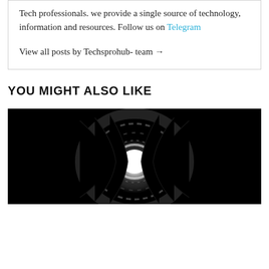Tech professionals. we provide a single source of technology, information and resources. Follow us on Telegram
View all posts by Techsprohub- team →
YOU MIGHT ALSO LIKE
[Figure (photo): Black and white photo of a tunnel with a bright light at the center, surrounded by dark swirling textures]